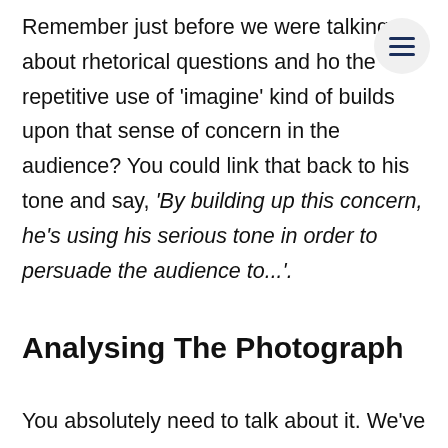Remember just before we were talking about rhetorical questions and how the repetitive use of 'imagine' kind of builds upon that sense of concern in the audience? You could link that back to his tone and say, 'By building up this concern, he's using his serious tone in order to persuade the audience to...'.
Analysing The Photograph
You absolutely need to talk about it. We've